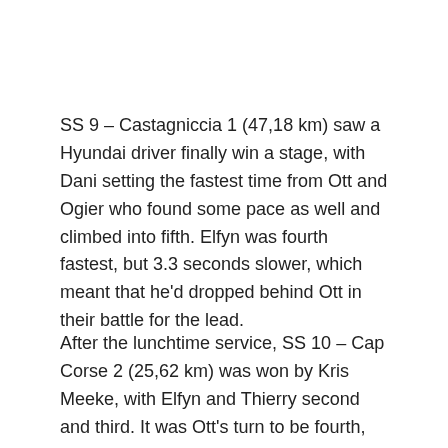SS 9 – Castagniccia 1 (47,18 km) saw a Hyundai driver finally win a stage, with Dani setting the fastest time from Ott and Ogier who found some pace as well and climbed into fifth. Elfyn was fourth fastest, but 3.3 seconds slower, which meant that he'd dropped behind Ott in their battle for the lead.
After the lunchtime service, SS 10 – Cap Corse 2 (25,62 km) was won by Kris Meeke, with Elfyn and Thierry second and third. It was Ott's turn to be fourth, and now the gap